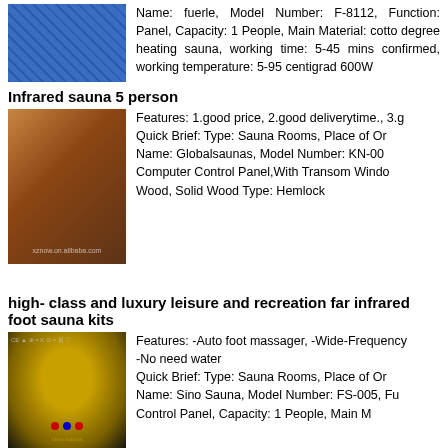[Figure (photo): Blue textured fabric/material close-up]
Name: fuerle, Model Number: F-8112, Function: Panel, Capacity: 1 People, Main Material: cotto degree heating sauna, working time: 5-45 mins confirmed, working temperature: 5-95 centigrad 600W
Infrared sauna 5 person
[Figure (photo): Wooden infrared sauna room, corner style, hemlock wood with black heating panels visible]
Features: 1.good price, 2.good deliverytime., 3.g Quick Brief: Type: Sauna Rooms, Place of Or Name: Globalsaunas, Model Number: KN-00 Computer Control Panel, With Transom Windo Wood, Solid Wood Type: Hemlock
high- class and luxury leisure and recreation far infrared foot sauna kits
[Figure (photo): Black foot sauna device with gold/yellow casing, control panel with red dots, certification icons at top]
Features: -Auto foot massager, -Wide-Frequency -No need water Quick Brief: Type: Sauna Rooms, Place of Or Name: Sino Sauna, Model Number: FS-005, Fu Control Panel, Capacity: 1 People, Main M